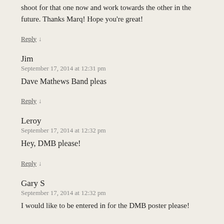shoot for that one now and work towards the other in the future. Thanks Marq! Hope you're great!
Reply ↓
Jim
September 17, 2014 at 12:31 pm
Dave Mathews Band pleas
Reply ↓
Leroy
September 17, 2014 at 12:32 pm
Hey, DMB please!
Reply ↓
Gary S
September 17, 2014 at 12:32 pm
I would like to be entered in for the DMB poster please!